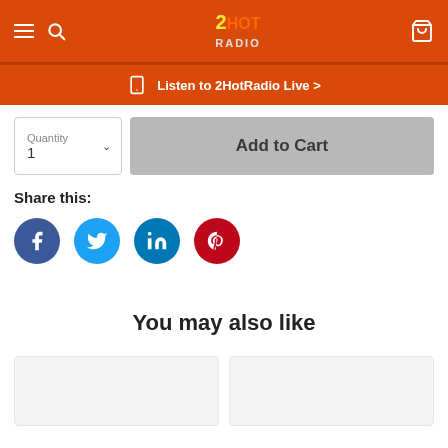2HotRadio navigation bar with hamburger menu, search icon, logo, and cart icon
Listen to 2HotRadio Live >
Quantity
1
Add to Cart
Share this:
[Figure (illustration): Social share icons: Facebook (blue circle), Twitter (light blue circle), LinkedIn (dark blue circle), Pinterest (red circle)]
You may also like
[Figure (photo): Two product card placeholders with light gray backgrounds]